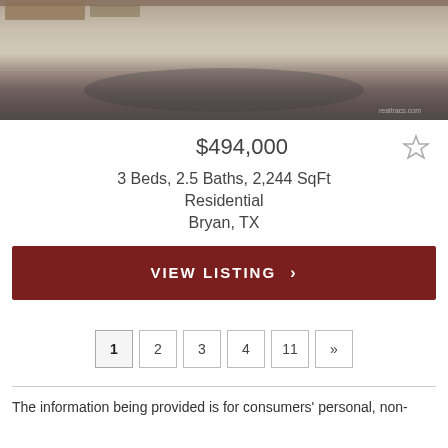[Figure (photo): Interior photo of a room with concrete/tile flooring, showing construction or renovation stage. Dark concrete floor visible at bottom, lighter floor material in middle, construction debris at top.]
$494,000
3 Beds, 2.5 Baths, 2,244 SqFt
Residential
Bryan, TX
VIEW LISTING >
1 2 3 4 11 »
The information being provided is for consumers' personal, non-